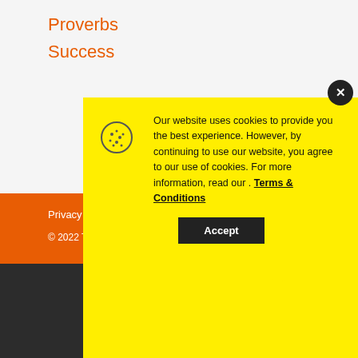Proverbs
Success
Privacy Poli…
© 2022 T…
No compatible source was found for this media.
[Figure (screenshot): Cookie consent popup on yellow background with cookie icon, text about website cookies usage and Terms & Conditions link, black Accept button, and close X button]
Shop Online, Pickup Today
World Market